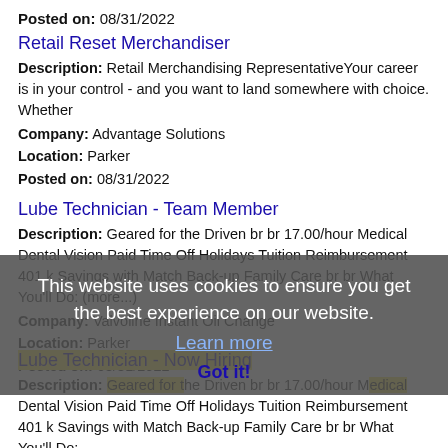Posted on: 08/31/2022
Retail Reset Merchandiser
Description: Retail Merchandising RepresentativeYour career is in your control - and you want to land somewhere with choice. Whether
Company: Advantage Solutions
Location: Parker
Posted on: 08/31/2022
Lube Technician - Team Member
Description: Geared for the Driven br br 17.00/hour Medical Dental Vision Paid Time Off Holidays Tuition Reimbursement 401 k Savings with Match Back-up Family Care br br What You'll Do: (more...)
Company: Valvoline Instant Oil Change
Location: Parker
Posted on: 08/31/2022
[Figure (screenshot): Cookie consent overlay with text: This website uses cookies to ensure you get the best experience on our website. Learn more. Got it!]
Lube Technician - Now Hiring
Description: Geared for the Driven br br 17.00/hour Medical Dental Vision Paid Time Off Holidays Tuition Reimbursement 401 k Savings with Match Back-up Family Care br br What You'll Do:
(more...)